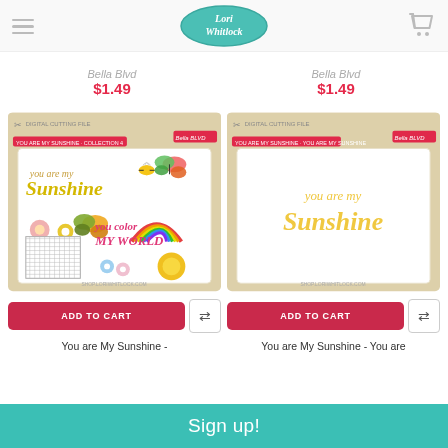Lori Whitlock
Bella Blvd
$1.49
Bella Blvd
$1.49
[Figure (photo): Digital cutting file product: You are My Sunshine Collection 4 by Bella Blvd, showing sunshine text, butterflies, rainbow, flowers, bee, sun, and pattern elements on packaging]
[Figure (photo): Digital cutting file product: You are My Sunshine - You are My Sunshine wordart die cut in yellow script on Bella Blvd packaging]
ADD TO CART
ADD TO CART
You are My Sunshine -
You are My Sunshine - You are
Sign up!